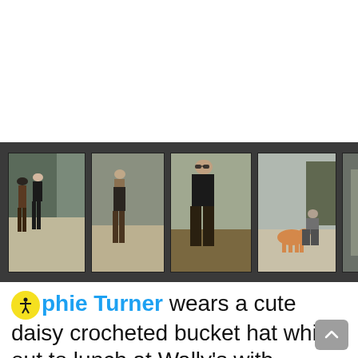[Figure (photo): White blank space at top of page (webpage whitespace above content)]
[Figure (photo): Dark strip with five photo thumbnails of a man (Joe Jonas) and a woman (Sophie Turner) on a street outing. Photos show the couple walking, posing, and the man crouching near a dog.]
phie Turner wears a cute daisy crocheted bucket hat while out to lunch at Wally's with